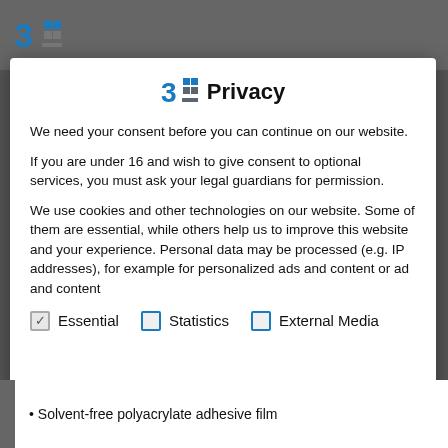3F Privacy
We need your consent before you can continue on our website.
If you are under 16 and wish to give consent to optional services, you must ask your legal guardians for permission.
We use cookies and other technologies on our website. Some of them are essential, while others help us to improve this website and your experience. Personal data may be processed (e.g. IP addresses), for example for personalized ads and content or ad and content
Essential  Statistics  External Media
Solvent-free polyacrylate adhesive film